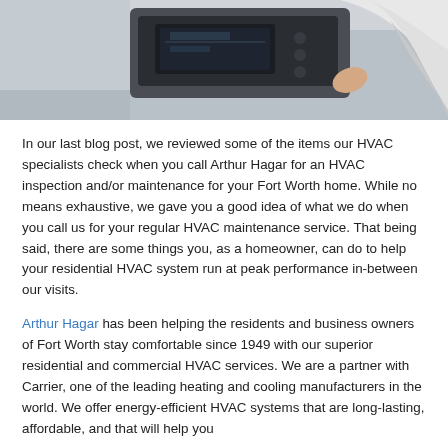[Figure (photo): Photo of a person in a white shirt working on or adjusting an HVAC unit or thermostat mounted on a wall, viewed from below/side angle.]
In our last blog post, we reviewed some of the items our HVAC specialists check when you call Arthur Hagar for an HVAC inspection and/or maintenance for your Fort Worth home. While no means exhaustive, we gave you a good idea of what we do when you call us for your regular HVAC maintenance service. That being said, there are some things you, as a homeowner, can do to help your residential HVAC system run at peak performance in-between our visits.
Arthur Hagar has been helping the residents and business owners of Fort Worth stay comfortable since 1949 with our superior residential and commercial HVAC services. We are a partner with Carrier, one of the leading heating and cooling manufacturers in the world. We offer energy-efficient HVAC systems that are long-lasting, affordable, and that will help you